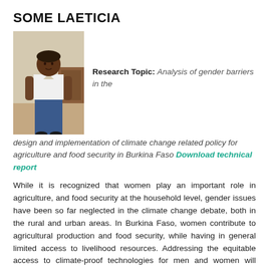SOME LAETICIA
[Figure (photo): Portrait photo of Some Laeticia, a woman wearing a white sleeveless top and jeans, standing indoors.]
Research Topic: Analysis of gender barriers in the design and implementation of climate change related policy for agriculture and food security in Burkina Faso Download technical report
While it is recognized that women play an important role in agriculture, and food security at the household level, gender issues have been so far neglected in the climate change debate, both in the rural and urban areas. In Burkina Faso, women contribute to agricultural production and food security, while having in general limited access to livelihood resources. Addressing the equitable access to climate-proof technologies for men and women will improve the impacts of adaptation initiatives. This project aims is to promote gender